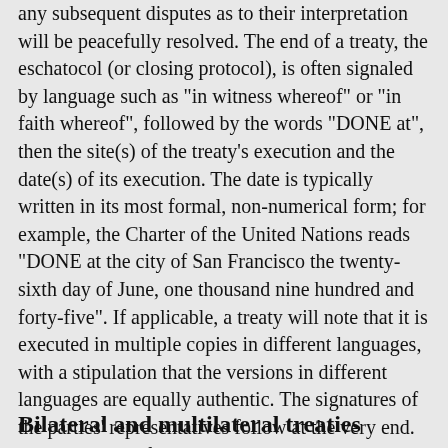authentic copies of the treaty will be deposited and that any subsequent disputes as to their interpretation will be peacefully resolved. The end of a treaty, the eschatocol (or closing protocol), is often signaled by language such as "in witness whereof" or "in faith whereof", followed by the words "DONE at", then the site(s) of the treaty's execution and the date(s) of its execution. The date is typically written in its most formal, non-numerical form; for example, the Charter of the United Nations reads "DONE at the city of San Francisco the twenty-sixth day of June, one thousand nine hundred and forty-five". If applicable, a treaty will note that it is executed in multiple copies in different languages, with a stipulation that the versions in different languages are equally authentic. The signatures of the parties' representatives follow at the very end. When the text of a treaty is later reprinted, such as in a collection of treaties currently in effect, an editor will often append the dates on which the respective parties ratified the treaty and on which it came into effect for each party.
Bilateral and multilateral treaties